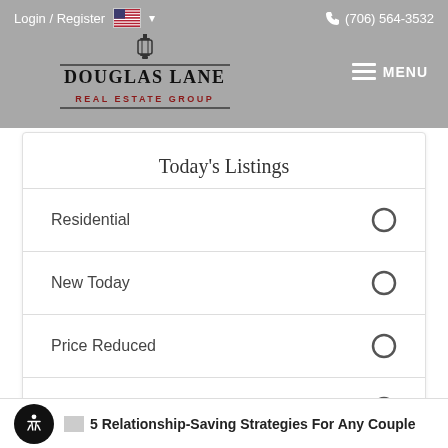Login / Register  🇺🇸 ▾    📞 (706) 564-3532
[Figure (logo): Douglas Lane Real Estate Group logo with lantern icon, dark text with decorative horizontal lines, and red subtitle text]
Today's Listings
Residential
New Today
Price Reduced
Lots & Land
5 Relationship-Saving Strategies For Any Couple